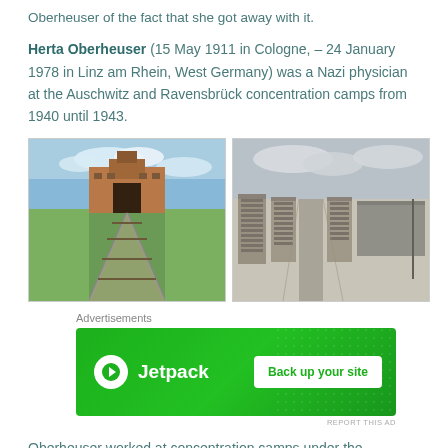Oberheuser of the fact that she got away with it.
Herta Oberheuser (15 May 1911 in Cologne, – 24 January 1978 in Linz am Rhein, West Germany) was a Nazi physician at the Auschwitz and Ravensbrück concentration camps from 1940 until 1943.
[Figure (photo): Color photograph of the Auschwitz concentration camp main gate with railway tracks leading toward it, green grass on either side, partly cloudy sky.]
[Figure (photo): Black and white photograph of Ravensbrück concentration camp showing rows of barracks buildings with a pathway between them and cloudy sky above.]
Advertisements
[Figure (other): Jetpack advertisement banner with green background. Shows Jetpack logo on left and 'Back up your site' button on right.]
REPORT THIS AD
Oberheuser worked at concentration camps under the